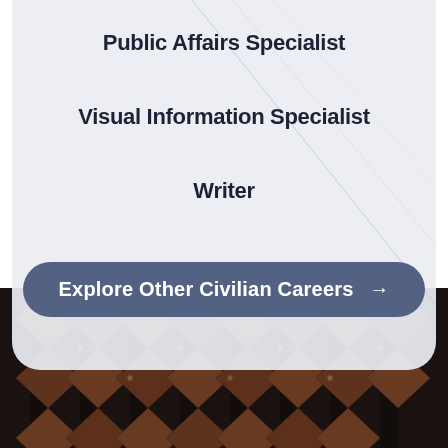Public Affairs Specialist
Visual Information Specialist
Writer
Explore Other Civilian Careers →